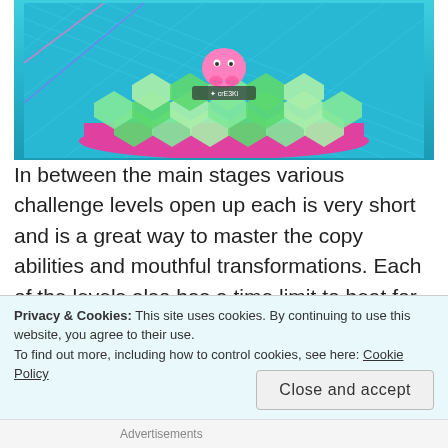[Figure (screenshot): A colorful video game screenshot showing a hexagonal tile-based level with a pink character on top of a green and teal platform, with a glowing blue grid background and pink accents.]
In between the main stages various challenge levels open up each is very short and is a great way to master the copy abilities and mouthful transformations. Each of the levels also has a time limit to beat for extra coins and these times can get very challenging, I did all of them but they don't add towards your 100 percent completion so are not necessary and only really go as far as bragging rights.
Privacy & Cookies: This site uses cookies. By continuing to use this website, you agree to their use.
To find out more, including how to control cookies, see here: Cookie Policy
Advertisements